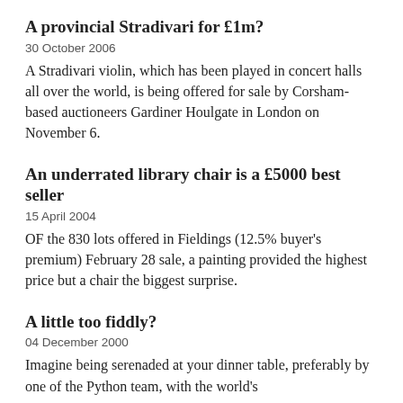A provincial Stradivari for £1m?
30 October 2006
A Stradivari violin, which has been played in concert halls all over the world, is being offered for sale by Corsham-based auctioneers Gardiner Houlgate in London on November 6.
An underrated library chair is a £5000 best seller
15 April 2004
OF the 830 lots offered in Fieldings (12.5% buyer's premium) February 28 sale, a painting provided the highest price but a chair the biggest surprise.
A little too fiddly?
04 December 2000
Imagine being serenaded at your dinner table, preferably by one of the Python team, with the world's